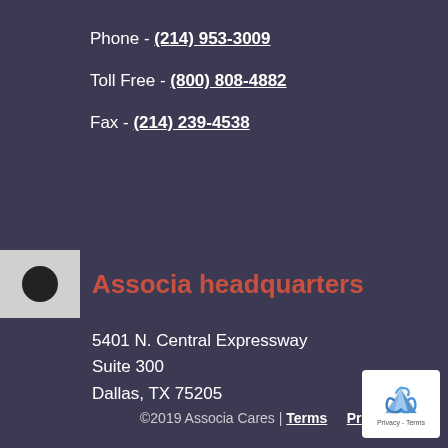Phone - (214) 953-3009
Toll Free - (800) 808-4882
Fax - (214) 239-4538
Associia headquarters
5401 N. Central Expressway
Suite 300
Dallas, TX 75205
©2019 Associa Cares | Terms   Privacy